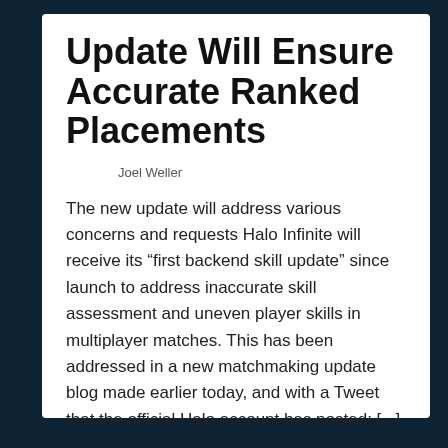Update Will Ensure Accurate Ranked Placements
Joel Weller
The new update will address various concerns and requests Halo Infinite will receive its “first backend skill update” since launch to address inaccurate skill assessment and uneven player skills in multiplayer matches. This has been addressed in a new matchmaking update blog made earlier today, and with a Tweet that the official Halo account has posted: [...]
CONTINUE READING →